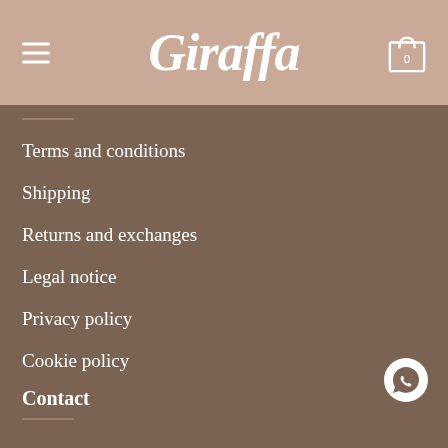Giraffa
Terms and conditions
Shipping
Returns and exchanges
Legal notice
Privacy policy
Cookie policy
Contact